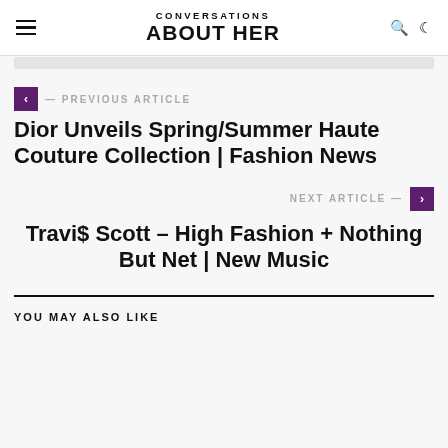CONVERSATIONS ABOUT HER
— PREVIOUS ARTICLE
Dior Unveils Spring/Summer Haute Couture Collection | Fashion News
NEXT ARTICLE —
Travi$ Scott – High Fashion + Nothing But Net | New Music
YOU MAY ALSO LIKE